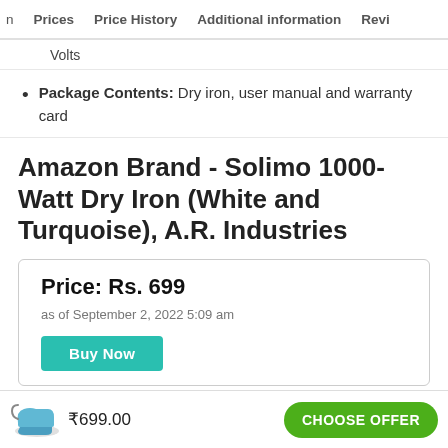n  Prices  Price History  Additional information  Revi…
Volts
Package Contents: Dry iron, user manual and warranty card
Amazon Brand - Solimo 1000-Watt Dry Iron (White and Turquoise), A.R. Industries
Price: Rs. 699
as of September 2, 2022 5:09 am
Buy Now
₹699.00  CHOOSE OFFER